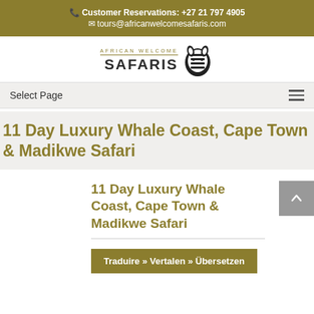Customer Reservations: +27 21 797 4905
tours@africanwelcomesafaris.com
[Figure (logo): African Welcome Safaris logo with zebra graphic and text 'AFRICAN WELCOME SAFARIS']
Select Page
11 Day Luxury Whale Coast, Cape Town & Madikwe Safari
11 Day Luxury Whale Coast, Cape Town & Madikwe Safari
Traduire » Vertalen » Übersetzen